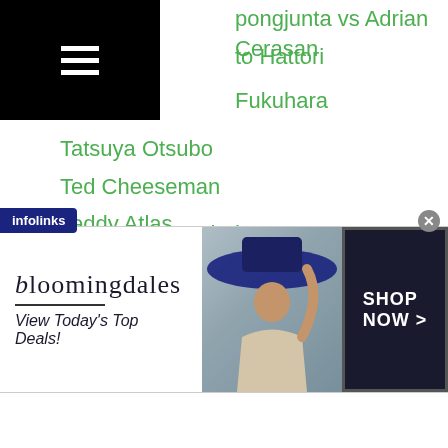pongjunta vs Adrian Cerasan
to Hattori
Fukuhara
Tatsuya Otsubo
Ted Cheeseman
Teddy Atlas
Teenagers
Teiken
Tenta Kiyose
Teofimo Lopez
Terence Crawford
Terry Flanagan
Tetsuya Hisada
Tetsuya Kondo
Tevin Farmer
Thabiso Mchunu
rchai Charoenphak
[Figure (screenshot): Bloomingdale's advertisement banner with woman in wide-brim hat and SHOP NOW button]